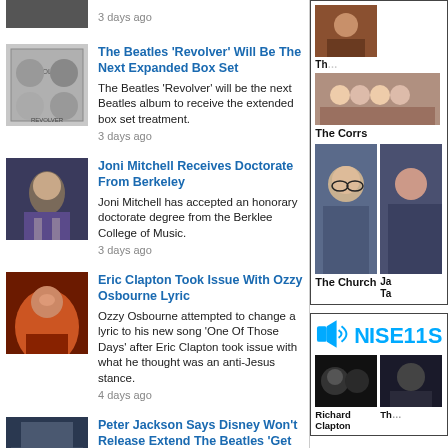3 days ago
The Beatles 'Revolver' Will Be The Next Expanded Box Set
The Beatles 'Revolver' will be the next Beatles album to receive the extended box set treatment.
3 days ago
Joni Mitchell Receives Doctorate From Berkeley
Joni Mitchell has accepted an honorary doctorate degree from the Berklee College of Music.
3 days ago
Eric Clapton Took Issue With Ozzy Osbourne Lyric
Ozzy Osbourne attempted to change a lyric to his new song 'One Of Those Days' after Eric Clapton took issue with what he thought was an anti-Jesus stance.
4 days ago
Peter Jackson Says Disney Won't Release Extend The Beatles 'Get Back' Edition
Sir Peter Jackson, director of The Beatles' recent 'Get Back' doco, says Disney cannot be convinced that an extended version is worth releasing.
[Figure (photo): Right sidebar with artist photos: The Corrs group photo, large portrait photo of The Church member with glasses, partial image of another artist labelled Ja / Ta]
[Figure (logo): Noise11 logo in blue with speaker icon and text NOISE11S, below two artist show thumbnails: Richard Clapton and a partially visible artist]